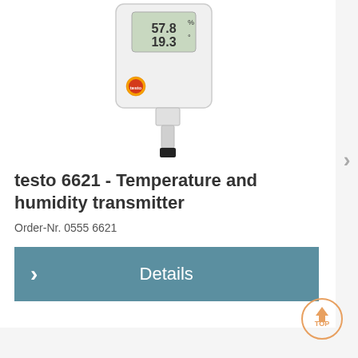[Figure (photo): Photo of testo 6621 temperature and humidity transmitter device — white rectangular unit with LCD display showing 57.8% and 19.3°, Testo logo badge, and a probe extending downward with black tip]
testo 6621 - Temperature and humidity transmitter
Order-Nr. 0555 6621
Details